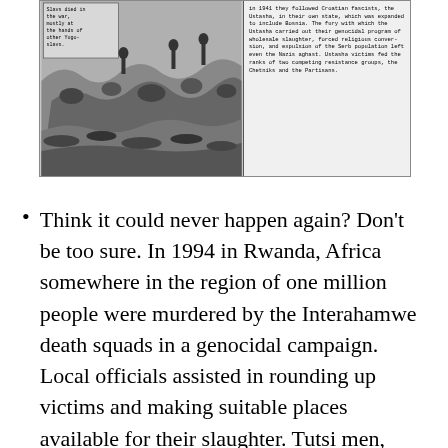[Figure (illustration): A black and white comic/illustration panel showing a mass of bodies and figures, depicting violence. On the right side is a text caption describing Croatian fascists, the Ustasha, their genocidal program of wholesale slaughter, forced religious conversion, and expulsion of the Serb population, noting that even the Nazis were aghast, and that Ustasha victims fed the ranks of two competing resistance groups, the Chetniks and the Partisans.]
Think it could never happen again? Don't be too sure. In 1994 in Rwanda, Africa somewhere in the region of one million people were murdered by the Interahamwe death squads in a genocidal campaign. Local officials assisted in rounding up victims and making suitable places available for their slaughter. Tutsi men, women, children and babies were killed in thousands in schools. They were also killed in churches, and in other places...